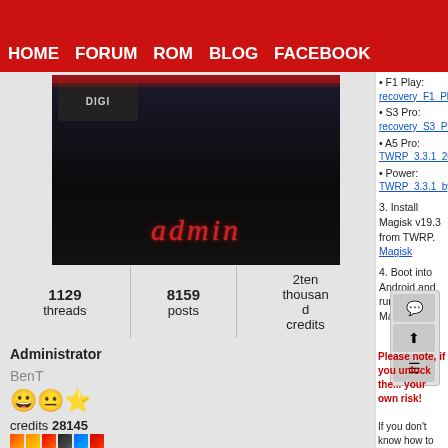HOME  FORUM  ROM  BLOG  FACEBOOK
[Figure (photo): Admin avatar: dark background with red italic 'admin' text]
| threads | posts | credits |
| --- | --- | --- |
| 1129 | 8159 | 2ten thousand |
Administrator
BenT
😀😐⭐
credits  28145
[Figure (illustration): Row of medal/badge icons in various colors]
F1: recovery_F1_test2_twrp_s23_t...
F1 Play: recovery_F1_Play_test1_tw...
S3 Pro: recovery_S3_Pro_test1_twr...
A5 Pro: TWRP_3.3.1_20190820_Ha...
Power: TWRP_3.3.1_by_nemo-nem...
3. Install Magisk v19.3 from TWRP. Magisk...
4. Boot into Android and run Magisk Manag...
Please note, if you unlock the... your own risk!
If you don't know how to install adb drivers, en... on this forum. Users also can help each other...
Reply